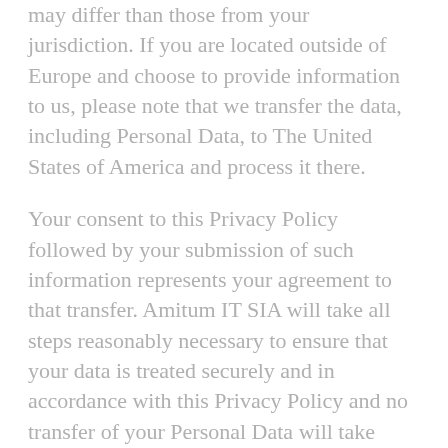may differ than those from your jurisdiction. If you are located outside of Europe and choose to provide information to us, please note that we transfer the data, including Personal Data, to The United States of America and process it there.
Your consent to this Privacy Policy followed by your submission of such information represents your agreement to that transfer. Amitum IT SIA will take all steps reasonably necessary to ensure that your data is treated securely and in accordance with this Privacy Policy and no transfer of your Personal Data will take place to an organization or a country unless there are adequate protections in place including the